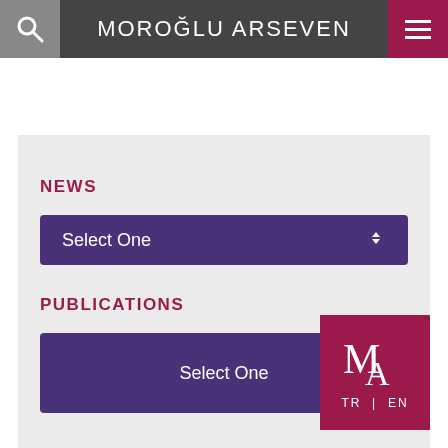MOROĞLU ARSEVEN
NEWS
Select One
PUBLICATIONS
Select One
[Figure (logo): Moroğlu Arseven logo with MA monogram and TR | EN language toggle]
TR | EN